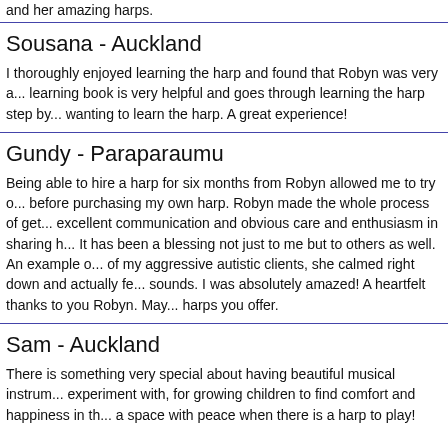and her amazing harps.
Sousana - Auckland
I thoroughly enjoyed learning the harp and found that Robyn was very a... learning book is very helpful and goes through learning the harp step by... wanting to learn the harp. A great experience!
Gundy - Paraparaumu
Being able to hire a harp for six months from Robyn allowed me to try o... before purchasing my own harp. Robyn made the whole process of get... excellent communication and obvious care and enthusiasm in sharing h... It has been a blessing not just to me but to others as well. An example o... of my aggressive autistic clients, she calmed right down and actually fe... sounds. I was absolutely amazed! A heartfelt thanks to you Robyn. May... harps you offer.
Sam - Auckland
There is something very special about having beautiful musical instrum... experiment with, for growing children to find comfort and happiness in th... a space with peace when there is a harp to play!